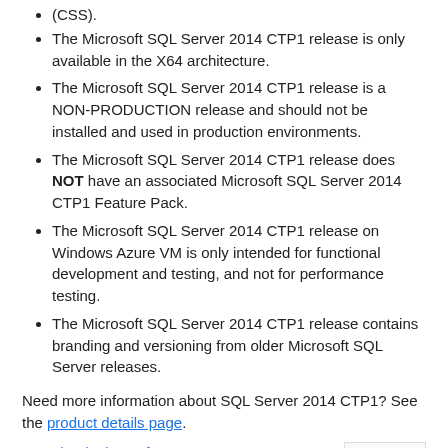(CSS).
The Microsoft SQL Server 2014 CTP1 release is only available in the X64 architecture.
The Microsoft SQL Server 2014 CTP1 release is a NON-PRODUCTION release and should not be installed and used in production environments.
The Microsoft SQL Server 2014 CTP1 release does NOT have an associated Microsoft SQL Server 2014 CTP1 Feature Pack.
The Microsoft SQL Server 2014 CTP1 release on Windows Azure VM is only intended for functional development and testing, and not for performance testing.
The Microsoft SQL Server 2014 CTP1 release contains branding and versioning from older Microsoft SQL Server releases.
Need more information about SQL Server 2014 CTP1? See the product details page.
Download Microsoft SQL Server 2014 Community Technology Preview 1 (CTP1)
Categories: Information